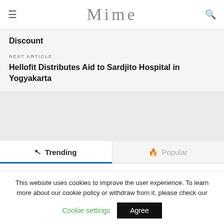Mime
Discount
NEXT ARTICLE
Hellofit Distributes Aid to Sardjito Hospital in Yogyakarta
Trending | Popular
This website uses cookies to improve the user experience. To learn more about our cookie policy or withdraw from it, please check our
Cookie settings
Agree